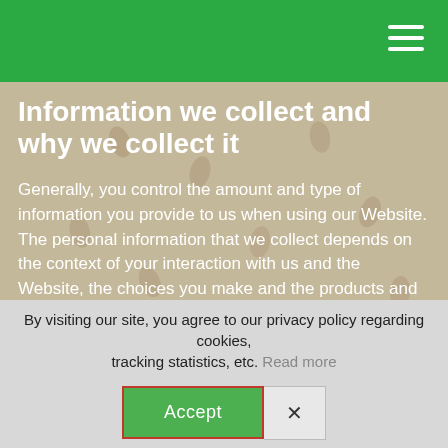Navigation menu header with green background
Information we collect and why we collect it
Generally, you control the amount and type of information you provide to us when using our Website. The personal information that we collect depends on the context of your interaction with us and the Website, the choices you make and the products and features you use.
As a Visitor, you can browse our Website to find out more about our Website without providing us with any personal information.
By visiting our site, you agree to our privacy policy regarding cookies, tracking statistics, etc. Read more
Accept
X